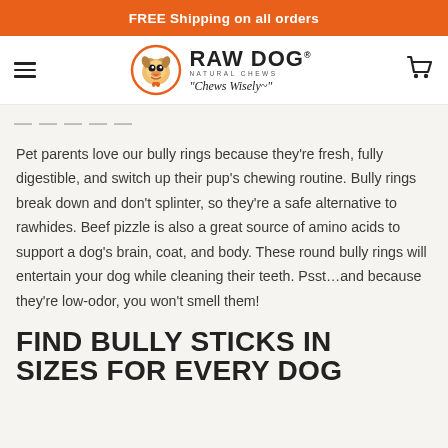FREE Shipping on all orders
[Figure (logo): Raw Dog Natural Chews logo with dog face in orange circle and tagline 'Chews Wisely']
Pet parents love our bully rings because they're fresh, fully digestible, and switch up their pup's chewing routine. Bully rings break down and don't splinter, so they're a safe alternative to rawhides. Beef pizzle is also a great source of amino acids to support a dog's brain, coat, and body. These round bully rings will entertain your dog while cleaning their teeth. Psst…and because they're low-odor, you won't smell them!
FIND BULLY STICKS IN SIZES FOR EVERY DOG